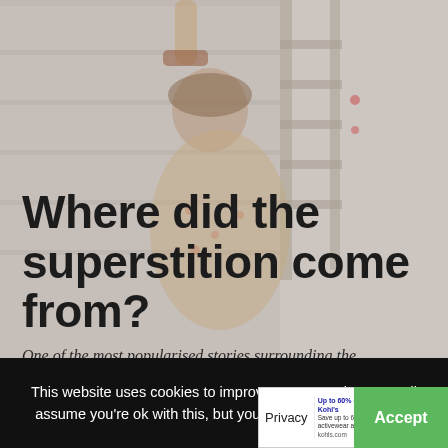[Figure (photo): Background photo of a person (elderly woman in floral clothing) standing near a wooden ladder or fence, with muted warm tones. Image is semi-transparent/faded to allow text overlay.]
Where did the superstition come from?
One of the most popularised stories surrounding the
This website uses cookies to improve your experience. We'll assume you're ok with this, but you can opt-out if you wish.